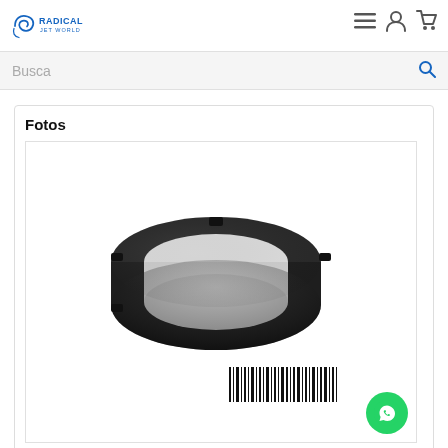Radical Jet World
Busca
Fotos
[Figure (photo): A black plastic ring/collar part, circular with notches, shown from a slight angle. A barcode is partially visible at the bottom right of the image.]